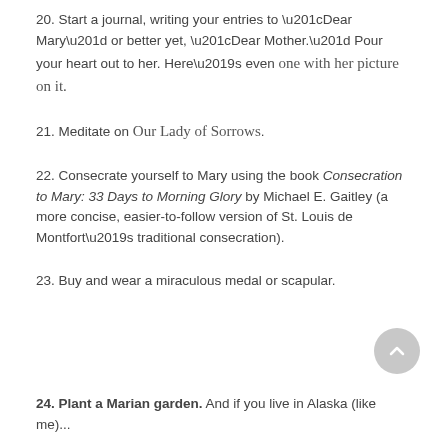20. Start a journal, writing your entries to “Dear Mary” or better yet, “Dear Mother.” Pour your heart out to her. Here’s even one with her picture on it.
21. Meditate on Our Lady of Sorrows.
22. Consecrate yourself to Mary using the book Consecration to Mary: 33 Days to Morning Glory by Michael E. Gaitley (a more concise, easier-to-follow version of St. Louis de Montfort’s traditional consecration).
23. Buy and wear a miraculous medal or scapular.
24. Plant a Marian garden. And if you live in Alaska (like me)...